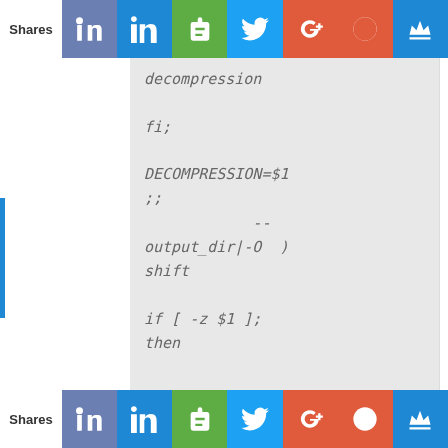Shares | Facebook | LinkedIn | Evernote | Twitter | Google+ | Reddit | Crown
decompression

fi;

DECOMPRESSION=$1
;;

            --
output_dir|-O  )
shift

if [ -z $1 ];
then


missing_arg --
output_dir
Shares | Facebook | LinkedIn | Evernote | Twitter | Google+ | Reddit | Crown